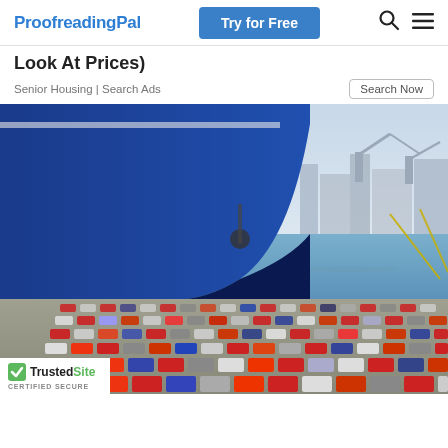ProofreadingPal | Try for Free
Look At Prices)
Senior Housing | Search Ads
[Figure (photo): A large blue cargo ship docked at a port, with hundreds of cars parked in rows on the dock in the foreground and industrial structures visible across the water in the background.]
[Figure (logo): TrustedSite CERTIFIED SECURE badge with green checkmark]